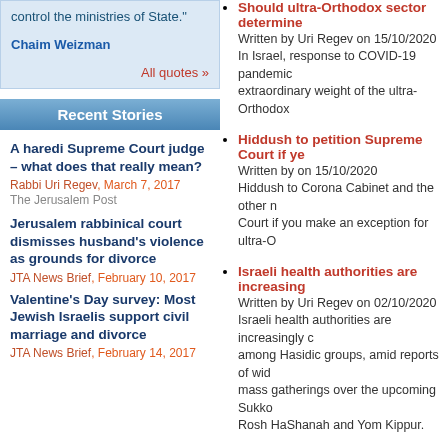control the ministries of State."
Chaim Weizman
All quotes »
Recent Stories
A haredi Supreme Court judge – what does that really mean?
Rabbi Uri Regev, March 7, 2017
The Jerusalem Post
Jerusalem rabbinical court dismisses husband's violence as grounds for divorce
JTA News Brief, February 10, 2017
Valentine's Day survey: Most Jewish Israelis support civil marriage and divorce
JTA News Brief, February 14, 2017
Should ultra-Orthodox sector determine… Written by Uri Regev on 15/10/2020. In Israel, response to COVID-19 pandemic... extraordinary weight of the ultra-Orthodox...
Hiddush to petition Supreme Court if ye... Written by on 15/10/2020. Hiddush to Corona Cabinet and the other... Court if you make an exception for ultra-O...
Israeli health authorities are increasingly... Written by Uri Regev on 02/10/2020. Israeli health authorities are increasingly c... among Hasidic groups, amid reports of wi... mass gatherings over the upcoming Sukko... Rosh HaShanah and Yom Kippur.
Haredi sector is leading Israel toward b... Written by on 30/09/2020. A recent Haaretz article underscores how t... Orthodox community on the issue of restri... deadly low point on a path of self-destructi...